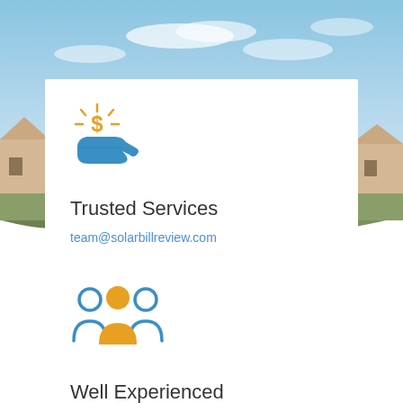[Figure (illustration): Background photo of suburban houses with hills and blue sky]
[Figure (illustration): Orange dollar sign with radiant lines above a blue open hand icon, representing financial/payment service]
Trusted Services
team@solarbillreview.com
[Figure (illustration): Blue and orange group of three people/users icon representing a team]
Well Experienced